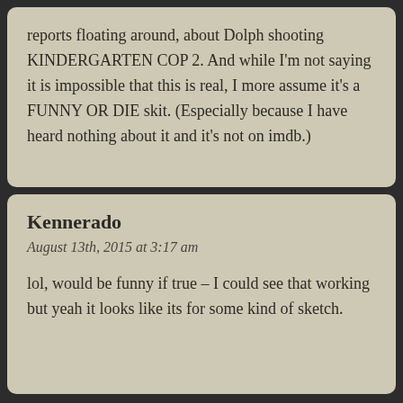reports floating around, about Dolph shooting KINDERGARTEN COP 2. And while I'm not saying it is impossible that this is real, I more assume it's a FUNNY OR DIE skit. (Especially because I have heard nothing about it and it's not on imdb.)
Kennerado
August 13th, 2015 at 3:17 am
lol, would be funny if true – I could see that working but yeah it looks like its for some kind of sketch.